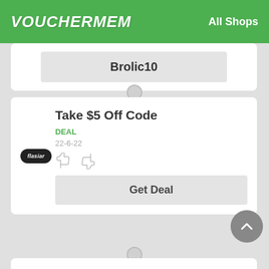VOUCHERMEM   All Shops
Brolic10
Take $5 Off Code
DEAL
22-6-22
Get Deal
Get An Additional 10% Reduction Membership Purchase
VOUCHER CODE